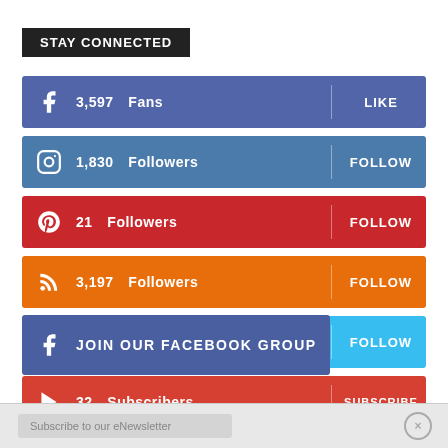STAY CONNECTED
3,597 Fans | LIKE (Facebook)
1,830 Followers | FOLLOW (Instagram)
21 Followers | FOLLOW (Pinterest)
3,197 Followers | FOLLOW (RSS)
10,512 Followers | FOLLOW (Twitter)
32 Subscribers | SUBSCRIBE (YouTube)
JOIN OUR FACEBOOK GROUP
Subscribe to our eNewsletter